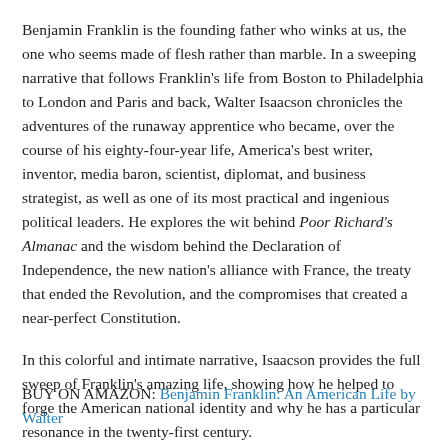Benjamin Franklin is the founding father who winks at us, the one who seems made of flesh rather than marble. In a sweeping narrative that follows Franklin's life from Boston to Philadelphia to London and Paris and back, Walter Isaacson chronicles the adventures of the runaway apprentice who became, over the course of his eighty-four-year life, America's best writer, inventor, media baron, scientist, diplomat, and business strategist, as well as one of its most practical and ingenious political leaders. He explores the wit behind Poor Richard's Almanac and the wisdom behind the Declaration of Independence, the new nation's alliance with France, the treaty that ended the Revolution, and the compromises that created a near-perfect Constitution.
In this colorful and intimate narrative, Isaacson provides the full sweep of Franklin's amazing life, showing how he helped to forge the American national identity and why he has a particular resonance in the twenty-first century.
BUY ON AMAZON: Benjamin Franklin: An American Life by Walter